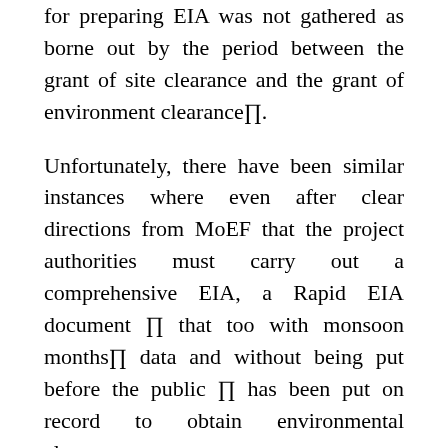for preparing EIA was not gathered as borne out by the period between the grant of site clearance and the grant of environment clearance∏.
Unfortunately, there have been similar instances where even after clear directions from MoEF that the project authorities must carry out a comprehensive EIA, a Rapid EIA document ∏ that too with monsoon months∏ data and without being put before the public ∏ has been put on record to obtain environmental clearance.
In light of such violations, this aspect being highlighted by the CAG audit is a heartening step. It enables a debate on whether Rapid EIA